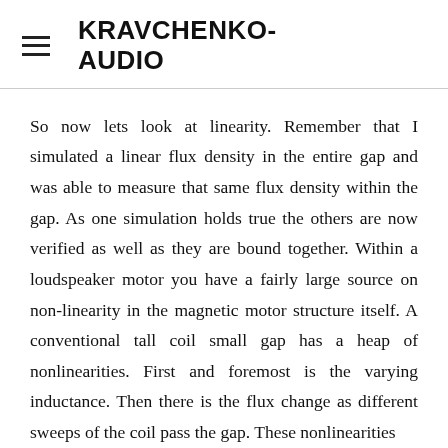KRAVCHENKO-AUDIO
So now lets look at linearity. Remember that I simulated a linear flux density in the entire gap and was able to measure that same flux density within the gap. As one simulation holds true the others are now verified as well as they are bound together. Within a loudspeaker motor you have a fairly large source on non-linearity in the magnetic motor structure itself. A conventional tall coil small gap has a heap of nonlinearities. First and foremost is the varying inductance. Then there is the flux change as different sweeps of the coil pass the gap. These nonlinearities